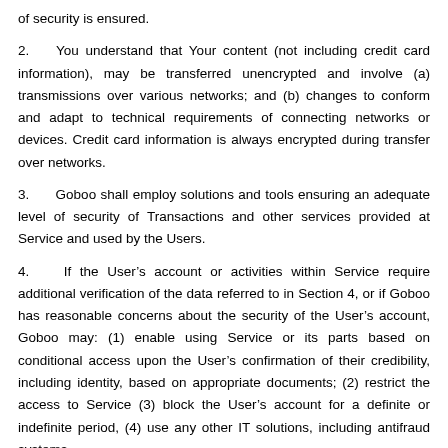of security is ensured.
2.    You understand that Your content (not including credit card information), may be transferred unencrypted and involve (a) transmissions over various networks; and (b) changes to conform and adapt to technical requirements of connecting networks or devices. Credit card information is always encrypted during transfer over networks.
3.      Goboo shall employ solutions and tools ensuring an adequate level of security of Transactions and other services provided at Service and used by the Users.
4.    If the User’s account or activities within Service require additional verification of the data referred to in Section 4, or if Goboo has reasonable concerns about the security of the User’s account, Goboo may: (1) enable using Service or its parts based on conditional access upon the User’s confirmation of their credibility, including identity, based on appropriate documents; (2) restrict the access to Service (3) block the User’s account for a definite or indefinite period, (4) use any other IT solutions, including antifraud systems.
5.    It is forbidden to use any Service in any way which is against applicable laws